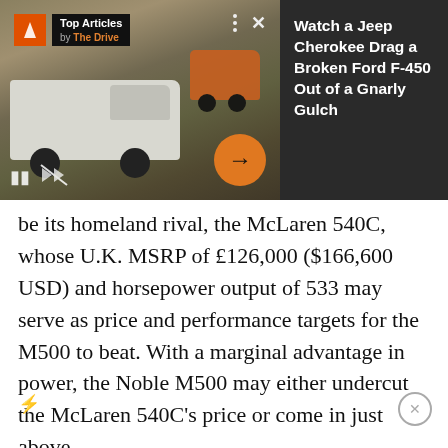[Figure (screenshot): Video player widget showing a white truck being towed up a rocky gulch by a Jeep Cherokee. Top Articles by The Drive badge in upper left. Video controls (pause, mute) at bottom left. Orange arrow button at bottom right. Three dots and X buttons at top right.]
Watch a Jeep Cherokee Drag a Broken Ford F-450 Out of a Gnarly Gulch
be its homeland rival, the McLaren 540C, whose U.K. MSRP of £126,000 ($166,600 USD) and horsepower output of 533 may serve as price and performance targets for the M500 to beat. With a marginal advantage in power, the Noble M500 may either undercut the McLaren 540C's price or come in just above.